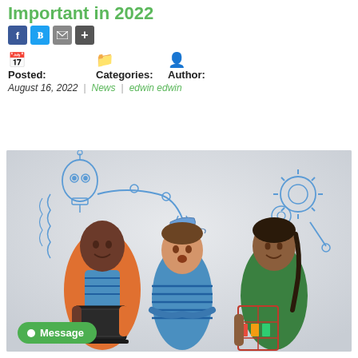Important in 2022
Posted: August 16, 2022 | Categories: News | Author: edwin edwin
[Figure (photo): Three children standing in front of a white background with blue illustrated STEM drawings (robotic arm, gears). The child on the left holds a laptop and wears an orange hoodie. The middle child wears a blue striped shirt. The right child wears a green shirt and holds a model structure. A blue cap is suspended above the middle child.]
Message